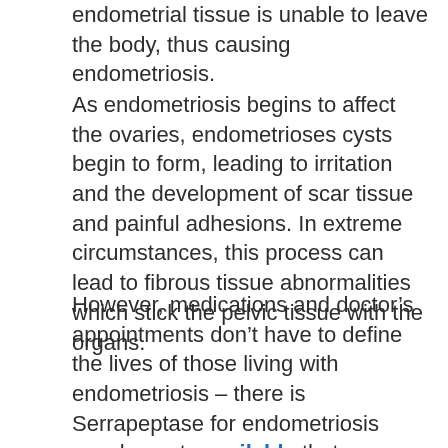endometrial tissue is unable to leave the body, thus causing endometriosis.
As endometriosis begins to affect the ovaries, endometrioses cysts begin to form, leading to irritation and the development of scar tissue and painful adhesions. In extreme circumstances, this process can lead to fibrous tissue abnormalities which stick the pelvic tissue with the organs.
However, medications and doctor’s appointments don’t have to define the lives of those living with endometriosis – there is Serrapeptase for endometriosis supplements available that can drastically improve quality of life and reduce the symptoms of endometriosis.